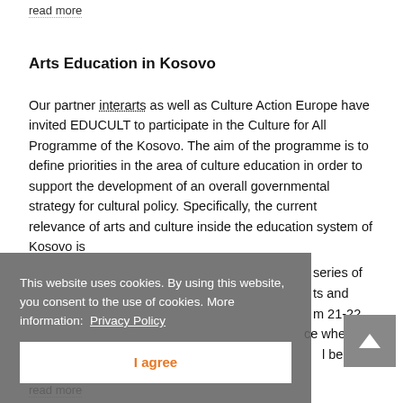read more
Arts Education in Kosovo
Our partner interarts as well as Culture Action Europe have invited EDUCULT to participate in the Culture for All Programme of the Kosovo. The aim of the programme is to define priorities in the area of culture education in order to support the development of an overall governmental strategy for cultural policy. Specifically, the current relevance of arts and culture inside the education system of Kosovo is [partially obscured] series of [obscured] ts and [obscured] m 21-22 [obscured] ce where the [obscured] l be
This website uses cookies. By using this website, you consent to the use of cookies. More information: Privacy Policy
I agree
read more